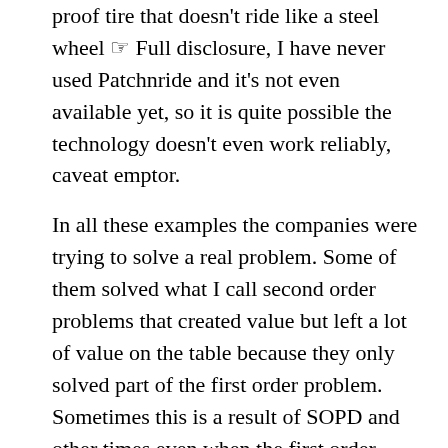proof tire that doesn't ride like a steel wheel ☞ Full disclosure, I have never used Patchnride and it's not even available yet, so it is quite possible the technology doesn't even work reliably, caveat emptor.
In all these examples the companies were trying to solve a real problem. Some of them solved what I call second order problems that created value but left a lot of value on the table because they only solved part of the first order problem. Sometimes this is a result of SOPD and other times even when the first order problem is well understood, the technology is not available to solve it yet. In those cases sometimes the best we can do is